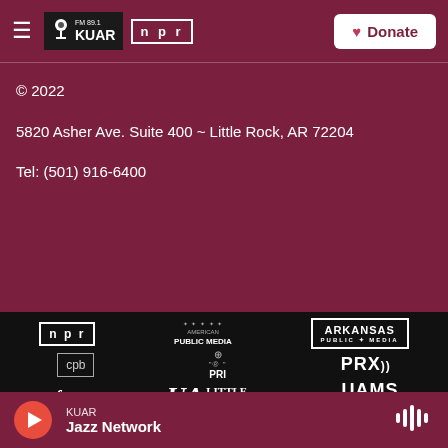FM 89.1 KUAR | NPR | Donate
© 2022

5820 Asher Ave. Suite 400 ~ Little Rock, AR 72204

Tel: (501) 916-6400
[Figure (logo): Partner logos row 1: NPR, American Public Media, Arkansas Public Media]
[Figure (logo): Partner logos row 2: CPB, PRI, PRX]
[Figure (logo): Partner logos row 3: WFMT, UA Little Rock, UAMS]
KUAR Jazz Network